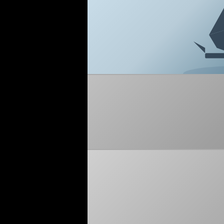[Figure (screenshot): Game list showing Assassin's Creed entries with trophy info. Four rows visible.]
Assassin's Creed...
Release: 11.11.201...
Trophies: 27/58 [41...]
Bronze: 20
Silver: 7
Gold: 0
Platinum: 0
Hidden* : 2
Assassin's Creed...
Release: 11.16.201...
Trophies: 51/61 [86...]
Bronze: 34
Silver: 16
Gold: 1
Platinum: 0
Hidden* : 0
Assassin's Creed...
Release: 11.15.201...
Trophies: 52/70 [74...]
Bronze: 36
Silver: 15
Gold: 1
Platinum: 0
Hidden* : 2
Back To The Futu...
Release: 02.15.201...
Trophies: 12/12 [10...]
Bronze: 7